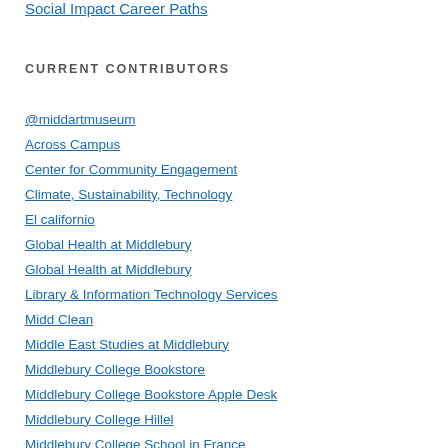Social Impact Career Paths
CURRENT CONTRIBUTORS
@middartmuseum
Across Campus
Center for Community Engagement
Climate, Sustainability, Technology
El californio
Global Health at Middlebury
Global Health at Middlebury
Library & Information Technology Services
Midd Clean
Middle East Studies at Middlebury
Middlebury College Bookstore
Middlebury College Bookstore Apple Desk
Middlebury College Hillel
Middlebury College School in France